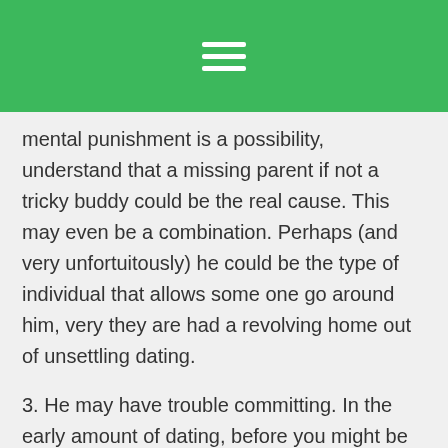[Figure (other): Green header bar with hamburger menu icon (three white horizontal lines)]
mental punishment is a possibility, understand that a missing parent if not a tricky buddy could be the real cause. This may even be a combination. Perhaps (and very unfortuitously) he could be the type of individual that allows some one go around him, very they are had a revolving home out of unsettling dating.
3. He may have trouble committing. In the early amount of dating, before you might be also extremely alert to his trust situations, he may find it hard to enter a romance since the guy loves you plenty and that's scared to purchase a love the guy assumes is just gonna damage him. It might